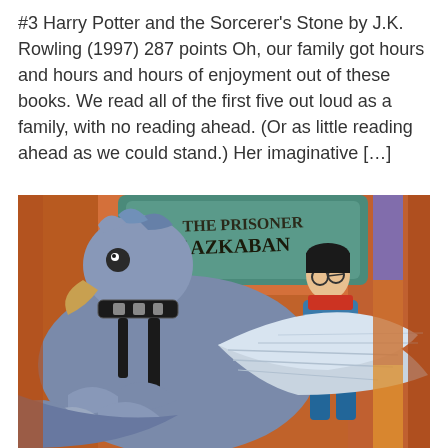#3 Harry Potter and the Sorcerer's Stone by J.K. Rowling (1997) 287 points Oh, our family got hours and hours and hours of enjoyment out of these books. We read all of the first five out loud as a family, with no reading ahead. (Or as little reading ahead as we could stand.) Her imaginative [...]
[Figure (illustration): Book cover illustration showing Harry Potter riding a Hippogriff (large eagle-creature with wings), with 'The Prisoner of Azkaban' text visible in the background. The scene is colorful with orange and blue tones.]